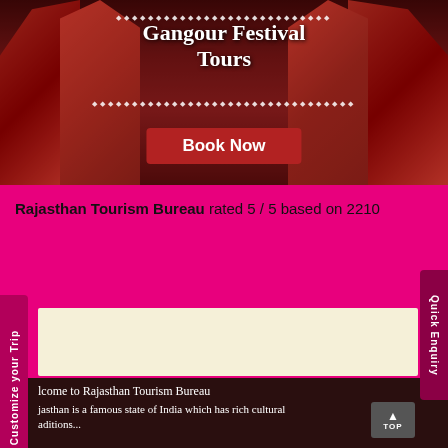[Figure (photo): Gangour Festival Tours banner with women in traditional Rajasthani red attire, with Book Now button]
Rajasthan Tourism Bureau rated 5 / 5 based on 2210
[Figure (other): Cream colored content/ad box]
Welcome to Rajasthan Tourism Bureau
Rajasthan is a famous state of India which has rich cultural traditions...